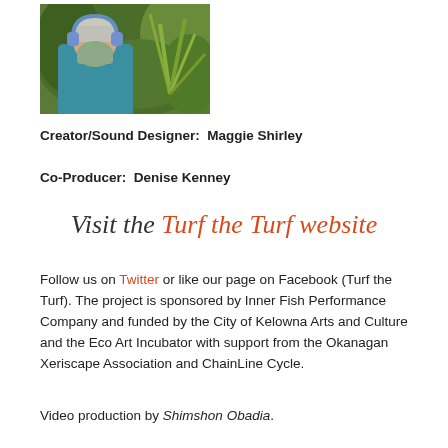[Figure (photo): Person wearing headphones and a grey face mask, photographed from behind, with green foliage in the background.]
Creator/Sound Designer:  Maggie Shirley
Co-Producer:  Denise Kenney
Visit the Turf the Turf website
Follow us on Twitter or like our page on Facebook (Turf the Turf). The project is sponsored by Inner Fish Performance Company and funded by the City of Kelowna Arts and Culture and the Eco Art Incubator with support from the Okanagan Xeriscape Association and ChainLine Cycle.
Video production by Shimshon Obadia.